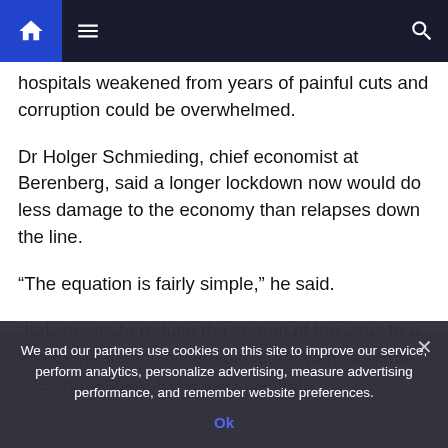Navigation bar with home, menu, and search icons
hospitals weakened from years of painful cuts and corruption could be overwhelmed.
Dr Holger Schmieding, chief economist at Berenberg, said a longer lockdown now would do less damage to the economy than relapses down the line.
“The equation is fairly simple,” he said.
“Italy needs to reduce the spread of the virus to a speed the health system can cope with, and that does not appear to be the case yet.”
We and our partners use cookies on this site to improve our service, perform analytics, personalize advertising, measure advertising performance, and remember website preferences.
Ok